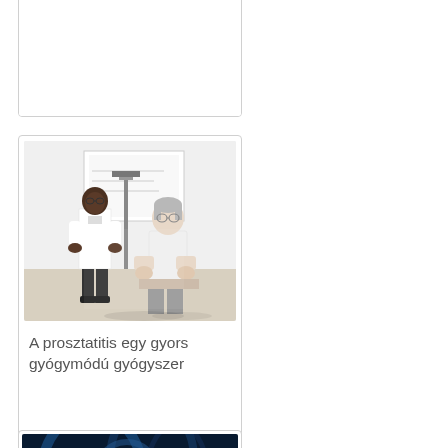[Figure (photo): White card/box at top of page, partially visible, mostly empty white space with border]
[Figure (photo): Doctor in white coat consulting with an older male patient in a medical office setting]
A prosztatitis egy gyors gyógymódú gyógyszer
[Figure (photo): Blue-toned anatomical or medical image, partially visible at bottom of page]